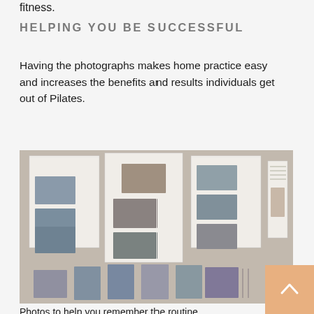fitness.
HELPING YOU BE SUCCESSFUL
Having the photographs makes home practice easy and increases the benefits and results individuals get out of Pilates.
[Figure (photo): A wall display showing multiple printed Pilates exercise sheets with photographs arranged in columns, and a row of individual photos at the bottom showing Pilates poses.]
Photos to help you remember the routine